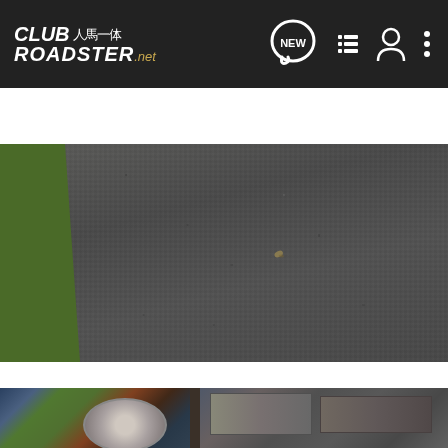[Figure (screenshot): ClubRoadster.net website navigation bar with logo, NEW speech bubble icon, list icon, user icon, and three-dots menu icon on dark background]
[Figure (screenshot): Search Community search bar with magnifying glass icon on light grey background]
[Figure (photo): Aerial or close-up view of asphalt road surface with grass verge on the left side]
[Figure (photo): Partial view of car parts and accessories on a surface, partially cut off at bottom of page]